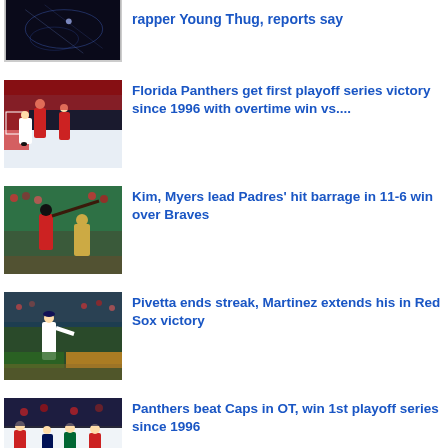[Figure (photo): Partial news item photo at top - dark background with light effects (Young Thug story)]
rapper Young Thug, reports say
[Figure (photo): Hockey action photo - Florida Panthers playoff game, goalie making a save]
Florida Panthers get first playoff series victory since 1996 with overtime win vs....
[Figure (photo): Baseball action photo - batter swinging, Padres vs Braves game]
Kim, Myers lead Padres' hit barrage in 11-6 win over Braves
[Figure (photo): Baseball photo - Red Sox pitcher on mound, Pivetta game]
Pivetta ends streak, Martinez extends his in Red Sox victory
[Figure (photo): Hockey photo - Panthers vs Capitals game action]
Panthers beat Caps in OT, win 1st playoff series since 1996
[Figure (photo): Partial photo at bottom of page - cyan/teal color visible]